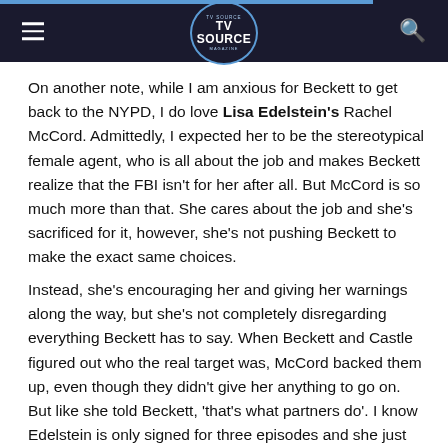TV Source Magazine
On another note, while I am anxious for Beckett to get back to the NYPD, I do love Lisa Edelstein's Rachel McCord. Admittedly, I expected her to be the stereotypical female agent, who is all about the job and makes Beckett realize that the FBI isn't for her after all. But McCord is so much more than that. She cares about the job and she's sacrificed for it, however, she's not pushing Beckett to make the exact same choices.
Instead, she's encouraging her and giving her warnings along the way, but she's not completely disregarding everything Beckett has to say. When Beckett and Castle figured out who the real target was, McCord backed them up, even though they didn't give her anything to go on. But like she told Beckett, 'that's what partners do'. I know Edelstein is only signed for three episodes and she just booked a pilot, but I